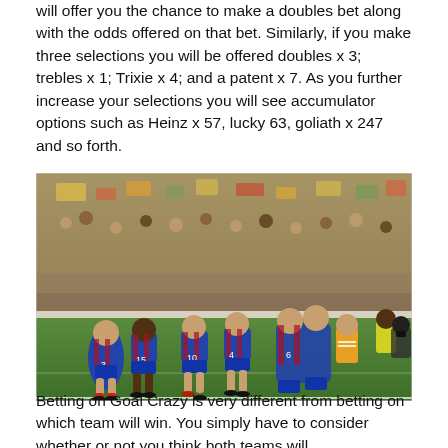will offer you the chance to make a doubles bet along with the odds offered on that bet. Similarly, if you make three selections you will be offered doubles x 3; trebles x 1; Trixie x 4; and a patent x 7. As you further increase your selections you will see accumulator options such as Heinz x 57, lucky 63, goliath x 247 and so forth.
[Figure (photo): A group of football players in blue and red striped jerseys celebrating on a pitch, surrounded by a crowd of spectators in the stands.]
Betting on Goal Crazy is very different from betting on which team will win. You simply have to consider whether or not you think both teams will